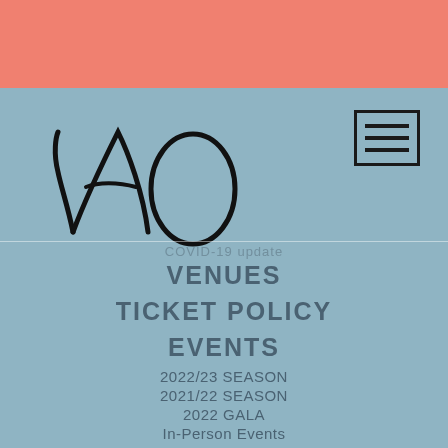[Figure (logo): LAO (Los Angeles Opera or similar) logo — stylized cursive letters L, A, O in black on blue-gray background]
[Figure (other): Hamburger menu icon — three horizontal lines in a square border]
COVID-19 update
VENUES
TICKET POLICY
EVENTS
2022/23 SEASON
2021/22 SEASON
2022 GALA
In-Person Events
Virtual Events
Full Calendar
Sound Investment Salons
VIDEOS